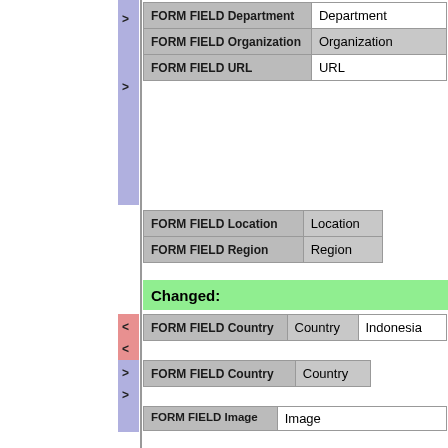| Field | Value |
| --- | --- |
| FORM FIELD Department | Department |
| FORM FIELD Organization | Organization |
| FORM FIELD URL | URL |
| FORM FIELD Location | Location |
| FORM FIELD Region | Region |
Changed:
| Field | Value1 | Value2 |
| --- | --- | --- |
| FORM FIELD Country | Country | Indonesia |
| FORM FIELD Country | Country |  |
| Field | Value |
| --- | --- |
| FORM FIELD Image | Image |
| FORM FIELD Status Update | StatusUpdate |
| META PREFERENCE | name="VIEW_TEMPLATE" title="VIEW_TEMPLATE" type="Local" value="UserView" |